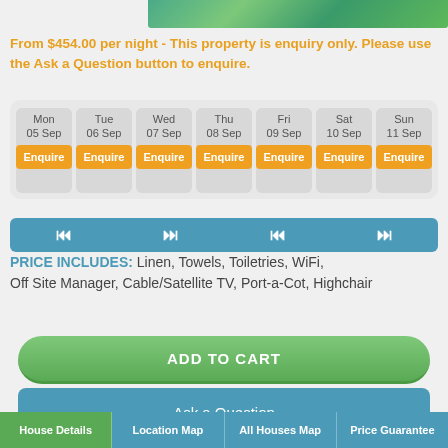[Figure (photo): Tropical green landscape/aerial photo strip at top of page]
From $454.00 per night - This property is enquiry only. Please use the Ask a Question button to enquire.
[Figure (other): Weekly calendar availability widget showing Mon 05 Sep through Sun 11 Sep, each day with an orange Enquire button]
[Figure (other): Navigation bar with skip-to-start, previous, next, skip-to-end controls on teal background]
PRICE INCLUDES: Linen, Towels, Toiletries, WiFi, Off Site Manager, Cable/Satellite TV, Port-a-Cot, Highchair
ADD TO CART
Ask a Question
House Details | Location Map | All Houses Map | Price Guarantee